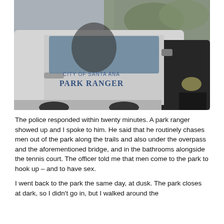[Figure (photo): Photo of a City of Santa Ana Park Ranger police vehicle, white car with 'CITY OF SANTA ANA PARK RANGER' text on the door, taken outdoors in daylight.]
The police responded within twenty minutes.  A park ranger showed up and I spoke to him.  He said that he routinely chases men out of the park along the trails and also under the overpass and the aforementioned bridge, and in the bathrooms alongside the tennis court.  The officer told me that men come to the park to hook up – and to have sex.
I went back to the park the same day, at dusk.  The park closes at dark, so I didn't go in, but I walked around the